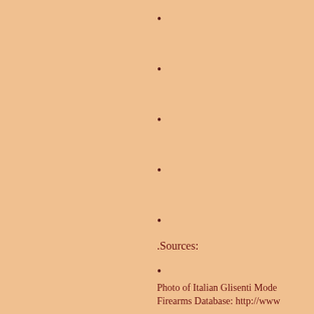•
•
•
•
•
•
•
•
•
•
.Sources:
Photo of Italian Glisenti Mode
Firearms Database: http://www